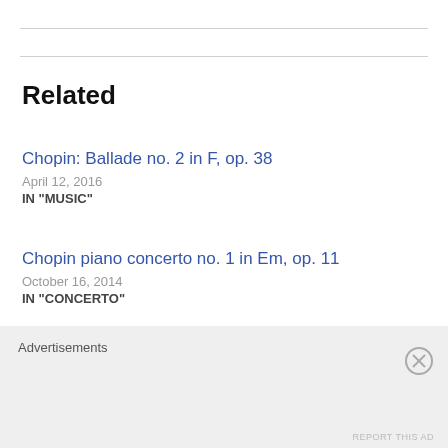Related
Chopin: Ballade no. 2 in F, op. 38
April 12, 2016
IN "MUSIC"
Chopin piano concerto no. 1 in Em, op. 11
October 16, 2014
IN "CONCERTO"
Chopin: Ballade no. 3 in A flat, op. 47
Advertisements